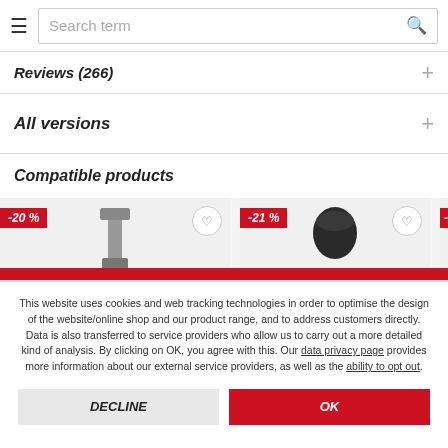Search term
Reviews (266)
All versions
Compatible products
[Figure (screenshot): Product cards strip showing two items with discount badges -20% and -21% and heart/wishlist buttons]
This website uses cookies and web tracking technologies in order to optimise the design of the website/online shop and our product range, and to address customers directly. Data is also transferred to service providers who allow us to carry out a more detailed kind of analysis. By clicking on OK, you agree with this. Our data privacy page provides more information about our external service providers, as well as the ability to opt out.
DECLINE
OK